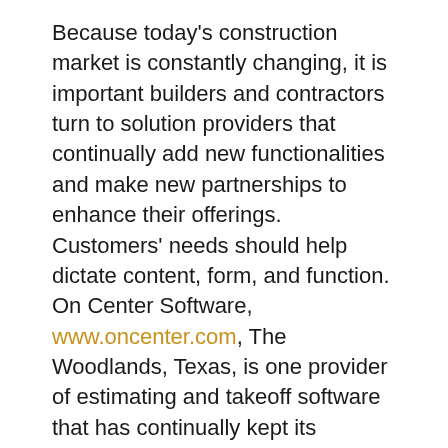Because today's construction market is constantly changing, it is important builders and contractors turn to solution providers that continually add new functionalities and make new partnerships to enhance their offerings. Customers' needs should help dictate content, form, and function.
On Center Software, www.oncenter.com, The Woodlands, Texas, is one provider of estimating and takeoff software that has continually kept its solutions up to par as the construction market demands it. At the core is the ability for builders and contractors to work more efficiently and increase the bottomline by reducing estimation time and allowing for more bids. An underlying value-add is the ability to create more accurate bids, which can also save time and money.